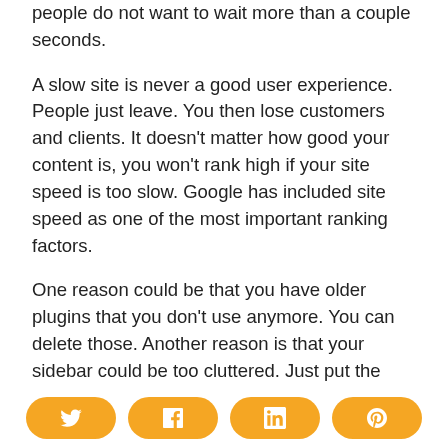people do not want to wait more than a couple seconds.
A slow site is never a good user experience. People just leave. You then lose customers and clients. It doesn't matter how good your content is, you won't rank high if your site speed is too slow. Google has included site speed as one of the most important ranking factors.
One reason could be that you have older plugins that you don't use anymore. You can delete those. Another reason is that your sidebar could be too cluttered. Just put the widgets you absolutely need on your sidebar.
Social share buttons: Twitter, Facebook, LinkedIn, Pinterest